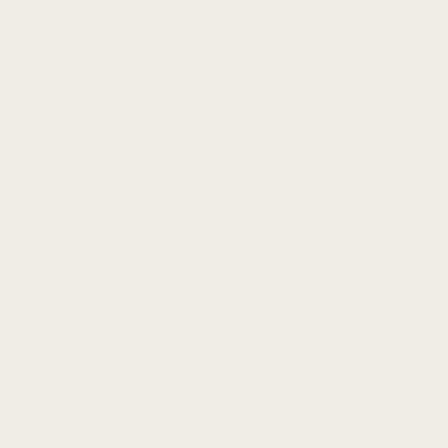[Figure (photo): Partial circular avatar photo at top showing a blonde person, cropped at top of page]
October 9 2018
Thank you so much. I still love this post <3
REPLY
[Figure (illustration): Teal globe/world icon as circular avatar for Claudine Solis]
Claudine Solis
June 26 2019
You will always be welcome to my beloved Panama.
REPLY
[Figure (photo): Circular avatar photo of Alex, a blonde woman smiling]
Alex
July 1 2019
You're too kind 🙂 I'd love...